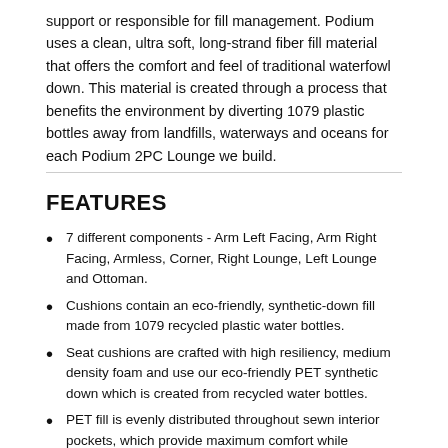support or responsible for fill management. Podium uses a clean, ultra soft, long-strand fiber fill material that offers the comfort and feel of traditional waterfowl down. This material is created through a process that benefits the environment by diverting 1079 plastic bottles away from landfills, waterways and oceans for each Podium 2PC Lounge we build.
FEATURES
7 different components - Arm Left Facing, Arm Right Facing, Armless, Corner, Right Lounge, Left Lounge and Ottoman.
Cushions contain an eco-friendly, synthetic-down fill made from 1079 recycled plastic water bottles.
Seat cushions are crafted with high resiliency, medium density foam and use our eco-friendly PET synthetic down which is created from recycled water bottles.
PET fill is evenly distributed throughout sewn interior pockets, which provide maximum comfort while